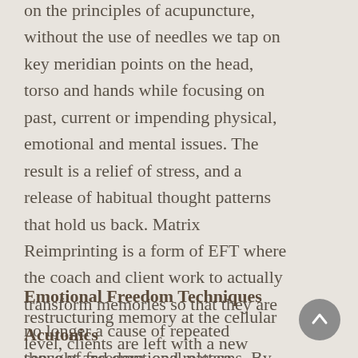on the principles of acupuncture, without the use of needles we tap on key meridian points on the head, torso and hands while focusing on past, current or impending physical, emotional and mental issues. The result is a relief of stress, and a release of habitual thought patterns that hold us back. Matrix Reimprinting is a form of EFT where the coach and client work to actually transform memories so that they are no longer a cause of repeated thought and emotional patterns. By restructuring memory at the cellular level, clients are left with a new sense of freedom, and release from long-held negative beliefs and
Emotional Freedom Techniques
Acutonics